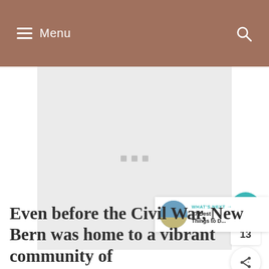Menu
[Figure (photo): Large image placeholder with loading dots indicator on light gray background]
[Figure (other): Social sidebar with heart/like button (teal circle), count 13, and share button]
[Figure (other): WHAT'S NEXT panel with thumbnail and text '17 Best Things to D...']
Even before the Civil War, New Bern was home to a vibrant community of